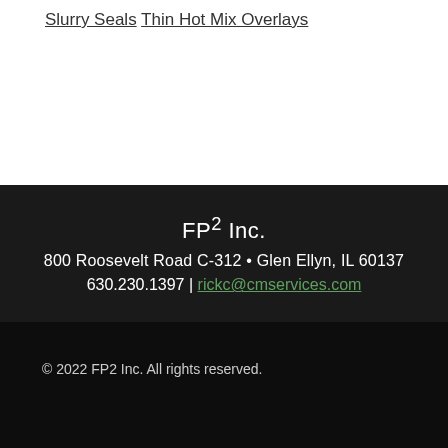Slurry Seals
Thin Hot Mix Overlays
FP2 Inc.
800 Roosevelt Road C-312 • Glen Ellyn, IL 60137
630.230.1397 | rickc@cmservices.com
© 2022 FP2 Inc. All rights reserved.